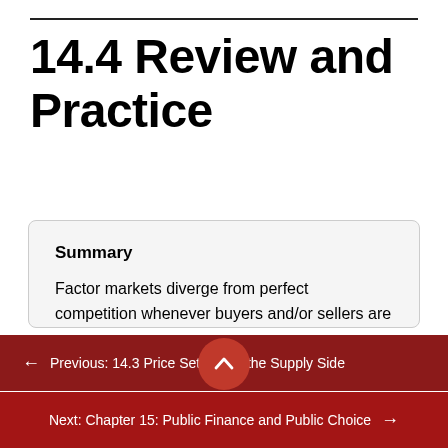14.4 Review and Practice
Summary
Factor markets diverge from perfect competition whenever buyers and/or sellers are price setters rather than price takers. A firm that is the sole
← Previous: 14.3 Price Setters on the Supply Side
Next: Chapter 15: Public Finance and Public Choice →